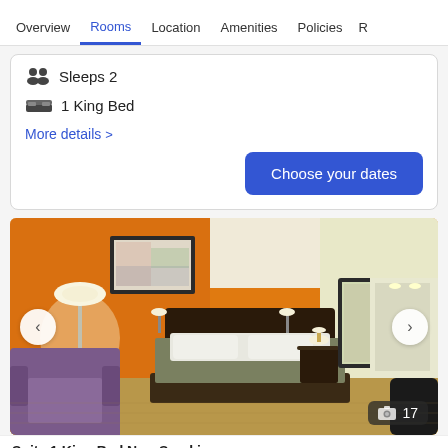Overview | Rooms | Location | Amenities | Policies | R
Sleeps 2
1 King Bed
More details >
Choose your dates
[Figure (photo): Hotel room photo showing a room with orange walls, king bed with dark headboard, armchair, nightstand with lamp, wall art, and a mirror reflecting the room. Photo count badge shows 17.]
Suite 1 King Bed Non-Smoking